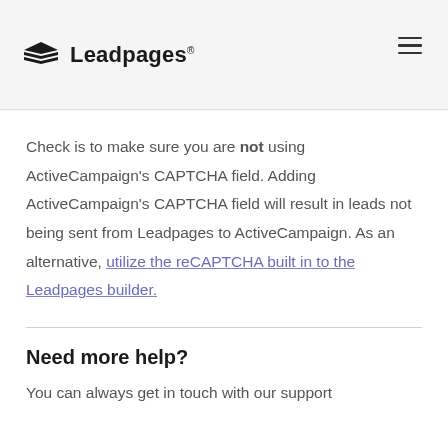Leadpages
Check is to make sure you are not using ActiveCampaign's CAPTCHA field. Adding ActiveCampaign's CAPTCHA field will result in leads not being sent from Leadpages to ActiveCampaign. As an alternative, utilize the reCAPTCHA built in to the Leadpages builder.
Need more help?
You can always get in touch with our support